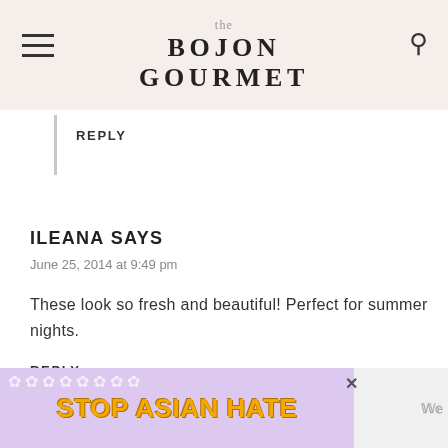the BOJON GOURMET
REPLY
ILEANA SAYS
June 25, 2014 at 9:49 pm
These look so fresh and beautiful! Perfect for summer nights.
REPLY
[Figure (screenshot): Advertisement banner reading STOP ASIAN HATE with purple floral background and anime character]